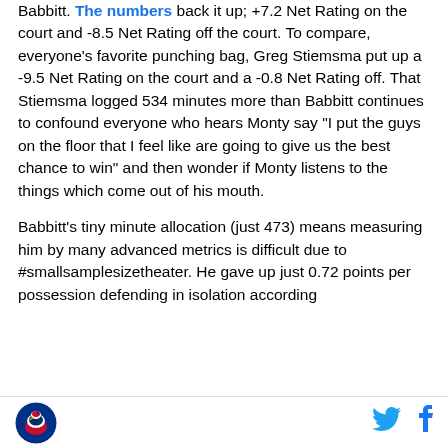Babbitt. The numbers back it up; +7.2 Net Rating on the court and -8.5 Net Rating off the court. To compare, everyone's favorite punching bag, Greg Stiemsma put up a -9.5 Net Rating on the court and a -0.8 Net Rating off. That Stiemsma logged 534 minutes more than Babbitt continues to confound everyone who hears Monty say "I put the guys on the floor that I feel like are going to give us the best chance to win" and then wonder if Monty listens to the things which come out of his mouth.
Babbitt's tiny minute allocation (just 473) means measuring him by many advanced metrics is difficult due to #smallsamplesizetheater. He gave up just 0.72 points per possession defending in isolation according
[logo] [twitter] [facebook]